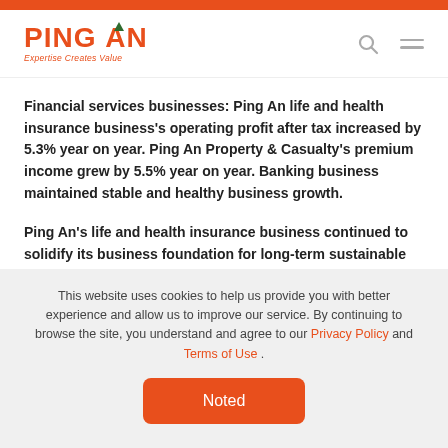PING AN — Expertise Creates Value
Financial services businesses: Ping An life and health insurance business's operating profit after tax increased by 5.3% year on year. Ping An Property & Casualty's premium income grew by 5.5% year on year. Banking business maintained stable and healthy business growth.
Ping An's life and health insurance business continued to solidify its business foundation for long-term sustainable growth. In 2020, life and health insurance business
This website uses cookies to help us provide you with better experience and allow us to improve our service. By continuing to browse the site, you understand and agree to our Privacy Policy and Terms of Use .